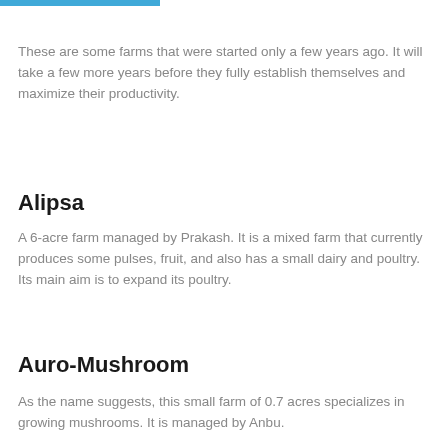These are some farms that were started only a few years ago. It will take a few more years before they fully establish themselves and maximize their productivity.
Alipsa
A 6-acre farm managed by Prakash. It is a mixed farm that currently produces some pulses, fruit, and also has a small dairy and poultry. Its main aim is to expand its poultry.
Auro-Mushroom
As the name suggests, this small farm of 0.7 acres specializes in growing mushrooms. It is managed by Anbu.